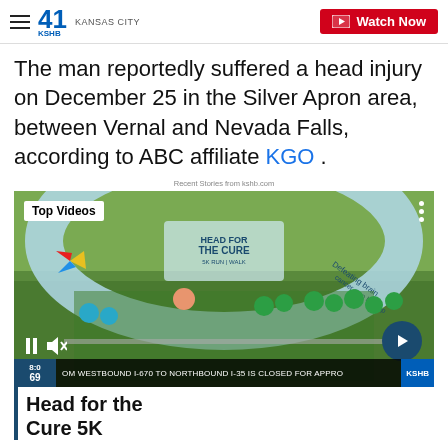41 KSHB KANSAS CITY — Watch Now
The man reportedly suffered a head injury on December 25 in the Silver Apron area, between Vernal and Nevada Falls, according to ABC affiliate KGO .
Recent Stories from kshb.com
[Figure (screenshot): Video thumbnail showing 'Head for the Cure 5K Run Walk' event with participants under a large inflatable arch. Overlay shows 'Top Videos' badge, play/pause controls, mute button, and next arrow. Bottom ticker reads: 'OM WESTBOUND I-670 TO NORTHBOUND I-35 IS CLOSED FOR APPRO'. Temperature shows 69 and KSHB logo.]
Head for the Cure 5K